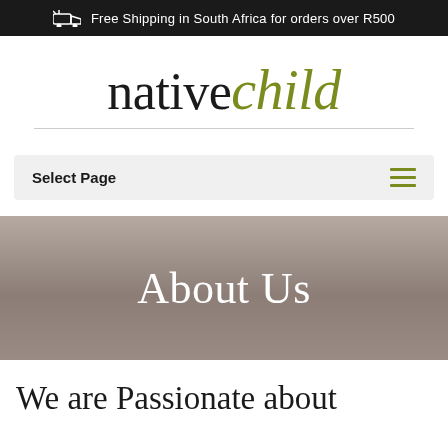Free Shipping in South Africa for orders over R500
[Figure (logo): nativechild logo — 'native' in dark serif and 'child' in olive/green italic serif]
Select Page
About Us
We are Passionate about